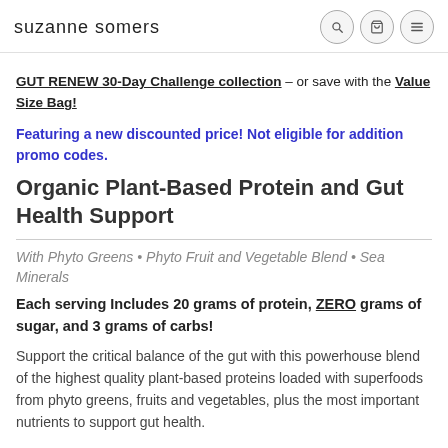suzanne somers
GUT RENEW 30-Day Challenge collection – or save with the Value Size Bag!
Featuring a new discounted price! Not eligible for addition promo codes.
Organic Plant-Based Protein and Gut Health Support
With Phyto Greens • Phyto Fruit and Vegetable Blend • Sea Minerals
Each serving Includes 20 grams of protein, ZERO grams of sugar, and 3 grams of carbs!
Support the critical balance of the gut with this powerhouse blend of the highest quality plant-based proteins loaded with superfoods from phyto greens, fruits and vegetables, plus the most important nutrients to support gut health.